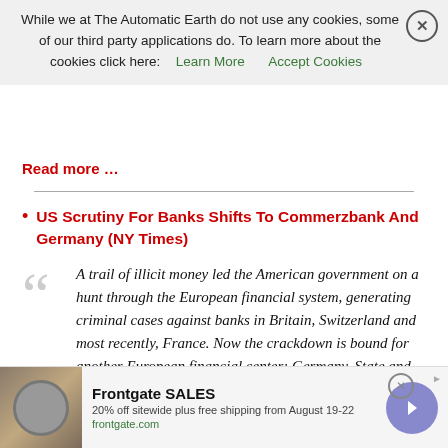While we at The Automatic Earth do not use any cookies, some of our third party applications do. To learn more about the cookies click here: Learn More  Accept Cookies
Read more …
US Scrutiny For Banks Shifts To Commerzbank And Germany (NY Times)
A trail of illicit money led the American government on a hunt through the European financial system, generating criminal cases against banks in Britain, Switzerland and most recently, France. Now the crackdown is bound for another European financial center: Germany. State and federal authorities have begun settlement talks with Commerzbank, Germany's second-largest lender, over the bank's dealings with Iran and other countries blacklisted by the United States, according to people briefed on the matter. The bank, which is suspected of transferring money through its American operations on …
[Figure (advertisement): Frontgate SALES advertisement: 20% off sitewide plus free shipping from August 19-22, frontgate.com, with image of outdoor fire pit furniture]